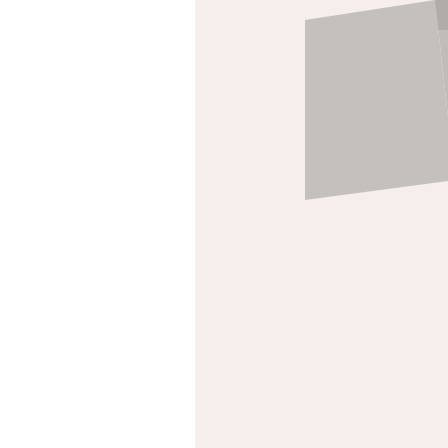[Figure (illustration): Partial view of grey boxer shorts/underwear on a warm beige-pink background, cropped at the top]
Nico boxer shorts - black cotton
$42.00
N
≡ MENU